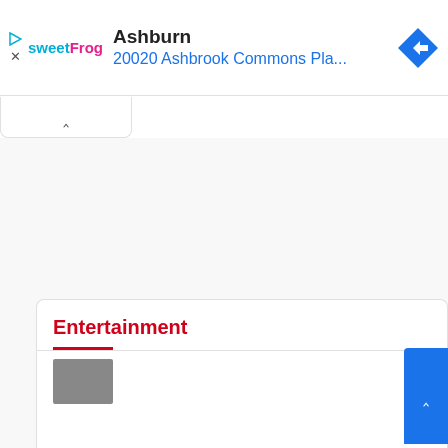[Figure (screenshot): Mobile app ad banner for sweetFrog frozen yogurt at Ashburn location: 20020 Ashbrook Commons Pla... with a blue navigation diamond icon on the right, sweetFrog logo on the left, and play/close icons.]
Ashburn
20020 Ashbrook Commons Pla...
[Figure (screenshot): Collapse/chevron bar below the ad banner, showing an up-caret (^) button on a white rounded rectangle.]
[Figure (screenshot): Large white/light grey empty map area in the middle of the screen.]
Entertainment
[Figure (screenshot): Bottom card panel showing Entertainment section with a red title, red divider line, grey horizontal rule, and a thumbnail image placeholder. A blue scroll-up button is visible on the right edge.]